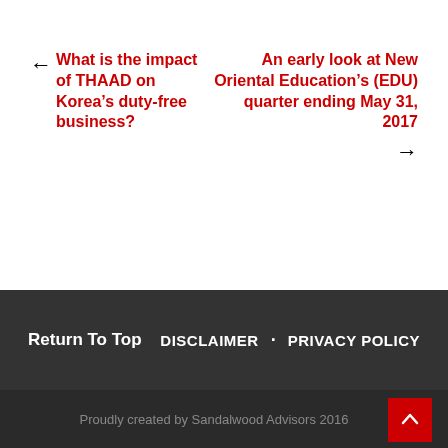← What is the impact of THAAD on Korea's duty-free business?
An early look at New Oriental Education's (EDU) quarter ending May 31, 2017 →
Return To Top   DISCLAIMER · PRIVACY POLICY
Proudly created by Sandalwood Advisors 2016